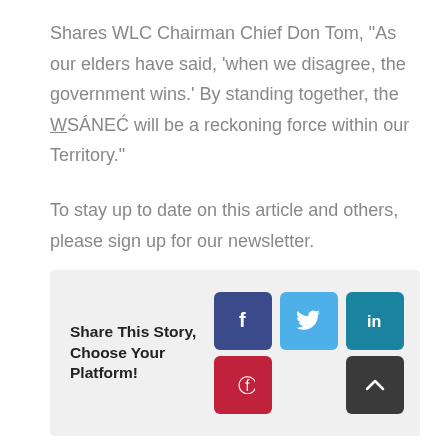Shares WLC Chairman Chief Don Tom, "As our elders have said, 'when we disagree, the government wins.' By standing together, the WSÁNEĆ will be a reckoning force within our Territory."
To stay up to date on this article and others, please sign up for our newsletter.
Share This Story, Choose Your Platform!